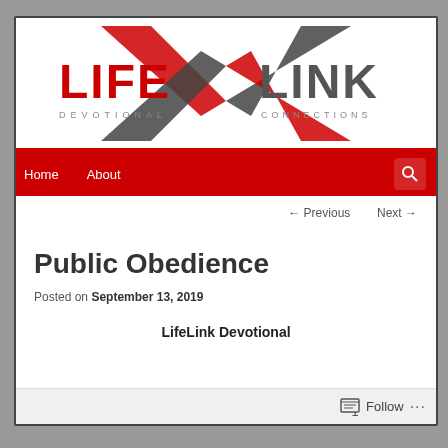[Figure (logo): LifeLink Devotional Connections logo with large X graphic in red and dark gray, text LIFE on left in red, LINK on right in dark gray, DEVOTIONAL CONNECTIONS below]
Home   About
← Previous   Next →
Public Obedience
Posted on September 13, 2019
LifeLink Devotional